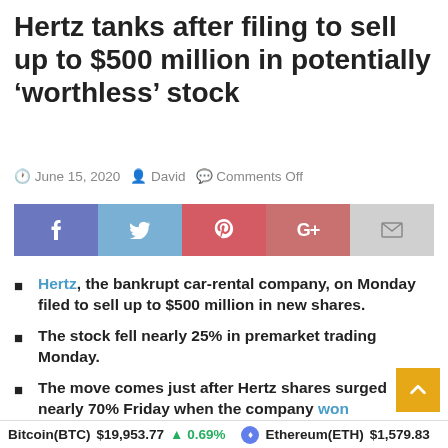Hertz tanks after filing to sell up to $500 million in potentially 'worthless' stock
June 15, 2020  David  Comments Off
[Figure (infographic): Social media share buttons: Facebook, Twitter, Pinterest, Google+, Email]
Hertz, the bankrupt car-rental company, on Monday filed to sell up to $500 million in new shares.
The stock fell nearly 25% in premarket trading Monday.
The move comes just after Hertz shares surged nearly 70% Friday when the company won bankruptcy court approval to sell up to $1 billion in new shares.
Watch Hertz trade live on Markets Insider.
Bitcoin(BTC) $19,953.77 ↑ 0.69%   Ethereum(ETH) $1,579.83